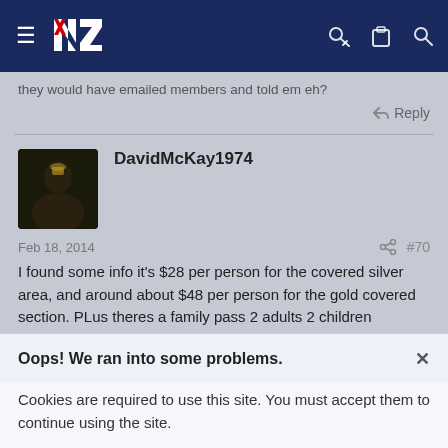[Figure (screenshot): Navigation bar with hamburger menu, NZ All Blacks logo, key icon, clipboard icon, and search icon on dark navy background]
they would have emailed members and told em eh?
Reply
DavidMcKay1974
Feb 18, 2014
#70
I found some info it's $28 per person for the covered silver area, and around about $48 per person for the gold covered section. PLus theres a family pass 2 adults 2 children forgotten how much they are. I'm snapping the silver area up.
Oops! We ran into some problems.
Cookies are required to use this site. You must accept them to continue using the site.